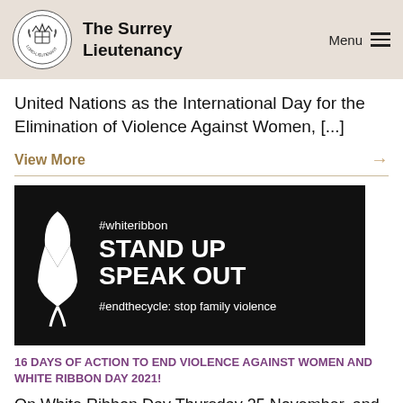The Surrey Lieutenancy
United Nations as the International Day for the Elimination of Violence Against Women, [...]
View More →
[Figure (illustration): Black banner with white ribbon logo, text reading #whiteribbon, STAND UP SPEAK OUT, #endthecycle: stop family violence]
16 DAYS OF ACTION TO END VIOLENCE AGAINST WOMEN AND WHITE RIBBON DAY 2021!
On White Ribbon Day Thursday 25 November, and